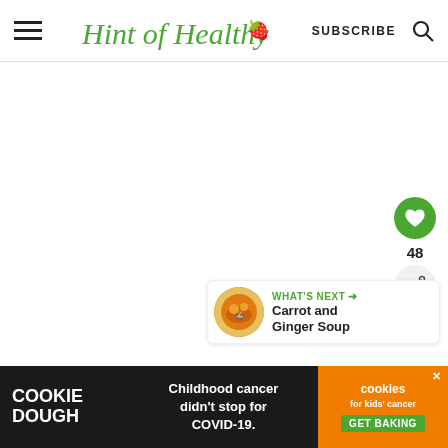[Figure (logo): Hint of Healthy logo with strawberry icon, green italic script text]
SUBSCRIBE
[Figure (infographic): White content area with like (heart) button showing 48 likes, share button, and What's Next panel showing Carrot and Ginger Soup]
[Figure (infographic): Advertisement banner: Cookie Dough - Childhood cancer didn't stop for COVID-19 - cookies for kids cancer - GET BAKING]